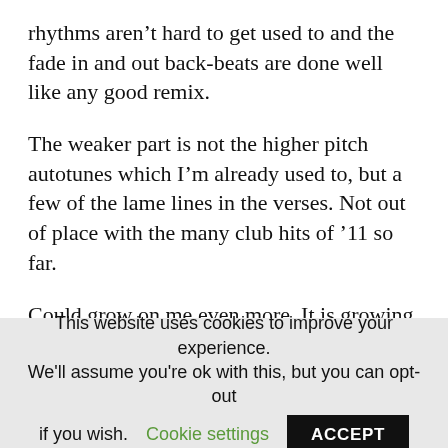rhythms aren't hard to get used to and the fade in and out back-beats are done well like any good remix.
The weaker part is not the higher pitch autotunes which I'm already used to, but a few of the lame lines in the verses. Not out of place with the many club hits of '11 so far.
Could grow on me even more. It is growing on me more. Party Rock Anthem at least had something to dance to, but this is nothing! Not bad, but could
This website uses cookies to improve your experience. We'll assume you're ok with this, but you can opt-out if you wish. Cookie settings ACCEPT